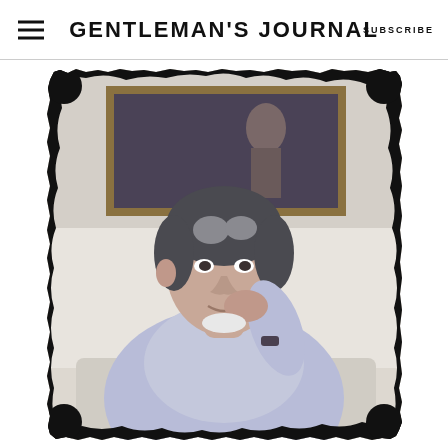GENTLEMAN'S JOURNAL | SUBSCRIBE
[Figure (photo): Portrait photograph of a middle-aged man with grey-streaked dark hair, wearing a light blue/lavender dress shirt, resting his chin on his hand, seated in front of a framed oil painting on the wall. The photo has a black grunge/ink-splatter border effect.]